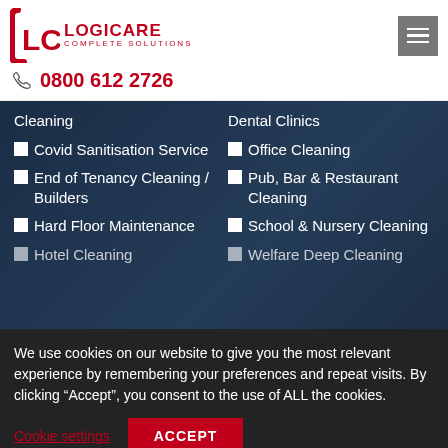[Figure (logo): LCS Logicare Complete Solutions logo in red with bracket graphic]
0800 612 2726
Cleaning
Dental Clinics
Covid Sanitisation Service
Office Cleaning
End of Tenancy Cleaning / Builders
Pub, Bar & Restaurant Cleaning
Hard Floor Maintenance
School & Nursery Cleaning
Hotel Cleaning
Welfare Deep Cleaning
We use cookies on our website to give you the most relevant experience by remembering your preferences and repeat visits. By clicking “Accept”, you consent to the use of ALL the cookies.
Cookie settings
ACCEPT